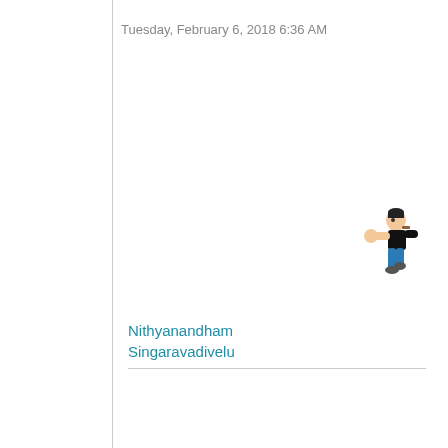Tuesday, February 6, 2018 6:36 AM
[Figure (illustration): Popeye cartoon character figure used as user avatar]
Nithyanandham Singaravadivelu
[Figure (other): Comment/reply icon - grey square with speech bubble]
▲
0
Sign in to vote
Hi Nithyanandham,

>> majority of the users was not able to forward the particular meeting invite as as icalendar .